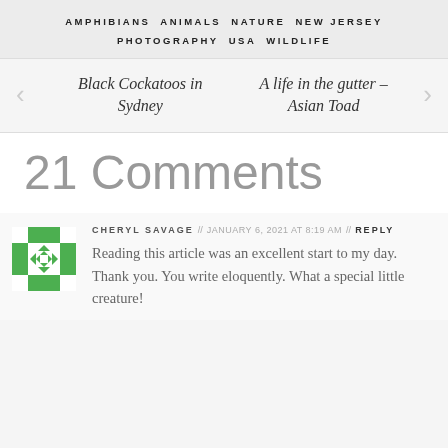AMPHIBIANS  ANIMALS  NATURE  NEW JERSEY  PHOTOGRAPHY  USA  WILDLIFE
Black Cockatoos in Sydney
A life in the gutter – Asian Toad
21 Comments
CHERYL SAVAGE // JANUARY 6, 2021 AT 8:19 AM // REPLY
Reading this article was an excellent start to my day. Thank you. You write eloquently. What a special little creature!